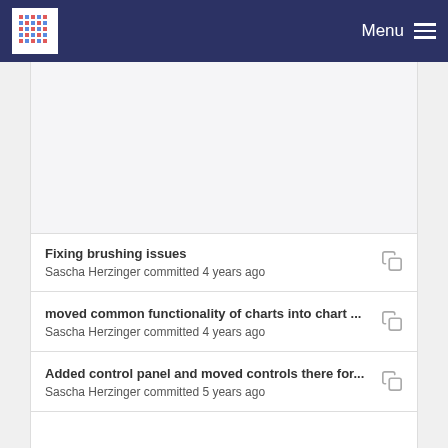Menu
Fixing brushing issues
Sascha Herzinger committed 4 years ago
moved common functionality of charts into chart ...
Sascha Herzinger committed 4 years ago
Added control panel and moved controls there for...
Sascha Herzinger committed 5 years ago